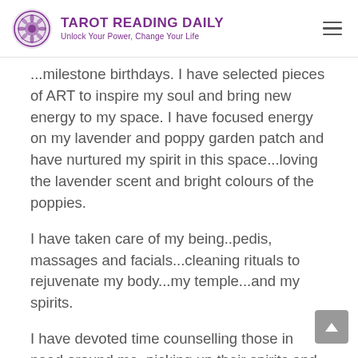TAROT READING DAILY — Unlock Your Power, Change Your Life
...milestone birthdays. I have selected pieces of ART to inspire my soul and bring new energy to my space. I have focused energy on my lavender and poppy garden patch and have nurtured my spirit in this space...loving the lavender scent and bright colours of the poppies.
I have taken care of my being..pedis, massages and facials...cleaning rituals to rejuvenate my body...my temple...and my spirits.
I have devoted time counselling those in need around me, picking up their spirits and providing support wherever I can....my little